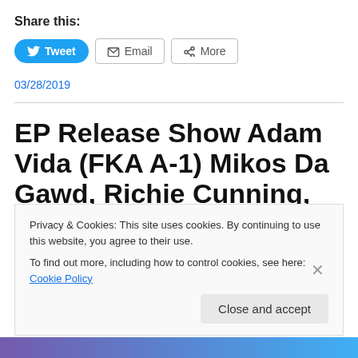Share this:
[Figure (screenshot): Social sharing buttons: Tweet (Twitter), Email, More]
03/28/2019
EP Release Show Adam Vida (FKA A-1) Mikos Da Gawd, Richie Cunning, Dregs One,
Privacy & Cookies: This site uses cookies. By continuing to use this website, you agree to their use. To find out more, including how to control cookies, see here: Cookie Policy
Close and accept